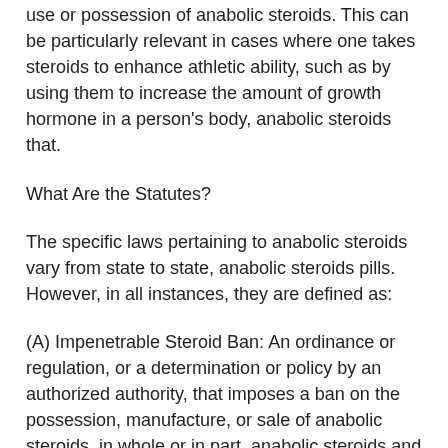use or possession of anabolic steroids. This can be particularly relevant in cases where one takes steroids to enhance athletic ability, such as by using them to increase the amount of growth hormone in a person's body, anabolic steroids that.
What Are the Statutes?
The specific laws pertaining to anabolic steroids vary from state to state, anabolic steroids pills. However, in all instances, they are defined as:
(A) Impenetrable Steroid Ban: An ordinance or regulation, or a determination or policy by an authorized authority, that imposes a ban on the possession, manufacture, or sale of anabolic steroids, in whole or in part, anabolic steroids and psa levels. This type of law is applied more commonly in states